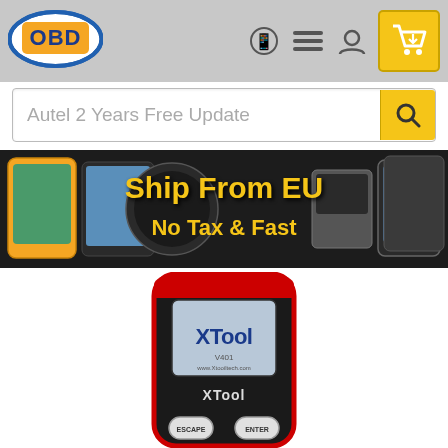[Figure (logo): OBD logo oval in blue/white with orange background and blue text 'OBD']
[Figure (screenshot): Website navigation bar with OBD logo, WhatsApp icon, menu icon, account icon, and yellow shopping cart icon]
Autel 2 Years Free Update
[Figure (photo): Dark banner showing diagnostic tools and tablets with yellow text 'Ship From EU No Tax & Fast']
[Figure (photo): XTOOL V401 OBD2 scanner handheld device in black and red with ESCAPE and ENTER buttons]